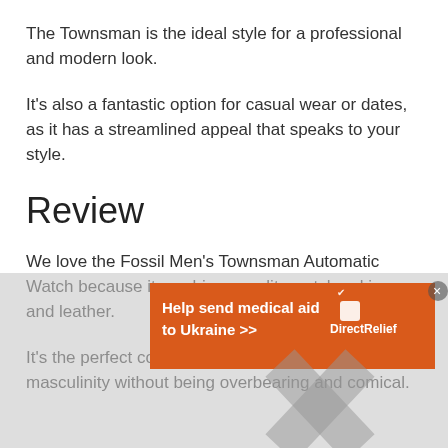The Townsman is the ideal style for a professional and modern look.
It's also a fantastic option for casual wear or dates, as it has a streamlined appeal that speaks to your style.
Review
We love the Fossil Men's Townsman Automatic Watch because it combines quality watchmaking and leather.
It's the perfect combination of materials that exude masculinity without being overbearing and comical.
[Figure (screenshot): Orange advertisement banner reading 'Help send medical aid to Ukraine >>' with Direct Relief logo on right side]